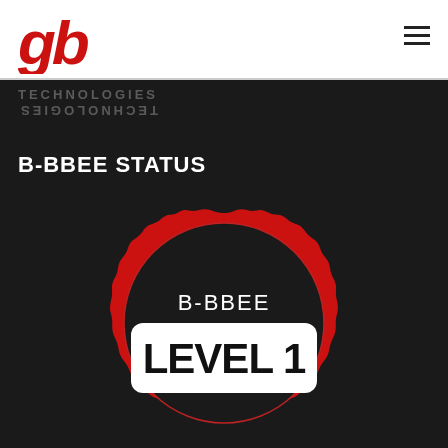[Figure (logo): gb Technologies logo - red stylized 'gb' letters in italic bold font]
TECHNOLOGIES (reflected/mirrored text decoration)
B-BBEE STATUS
[Figure (infographic): B-BBEE Level 1 certification badge - red jagged/wavy seal shape with dark interior circle, white text 'B-BBEE' above and bold black 'LEVEL 1' on white rounded rectangle banner]